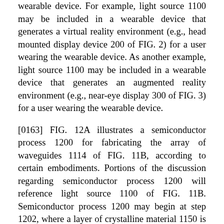wearable device. For example, light source 1100 may be included in a wearable device that generates a virtual reality environment (e.g., head mounted display device 200 of FIG. 2) for a user wearing the wearable device. As another example, light source 1100 may be included in a wearable device that generates an augmented reality environment (e.g., near-eye display 300 of FIG. 3) for a user wearing the wearable device.
[0163] FIG. 12A illustrates a semiconductor process 1200 for fabricating the array of waveguides 1114 of FIG. 11B, according to certain embodiments. Portions of the discussion regarding semiconductor process 1200 will reference light source 1100 of FIG. 11B. Semiconductor process 1200 may begin at step 1202, where a layer of crystalline material 1150 is formed on a semiconductor substrate 1104. In some embodiments, the semiconductor substrate 1104 may be a crystal growth substrate wafer comprised of a growth material, such as but not limited to Si/A103. The crystalline material of the crystalline material layer 1150 may include, but is not limited to GaN. An array of crystalline structures is grown on